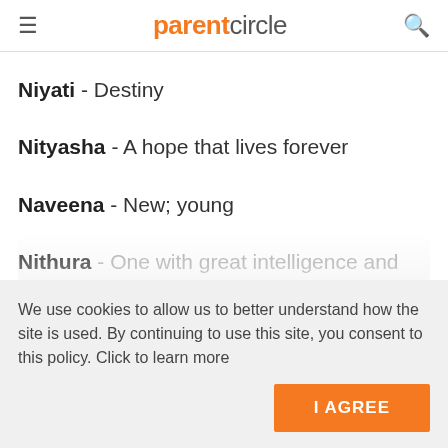parentcircle
Niyati - Destiny
Nityasha - A hope that lives forever
Naveena - New; young
Nithura - One with great intelligence and
We use cookies to allow us to better understand how the site is used. By continuing to use this site, you consent to this policy. Click to learn more
I AGREE